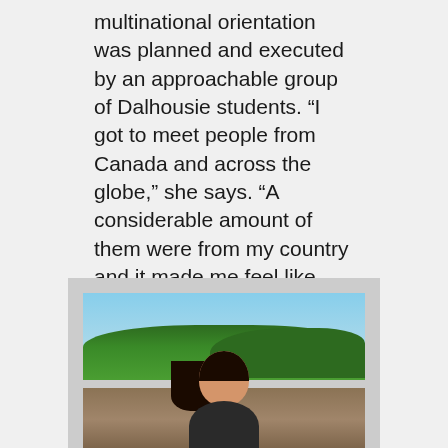multinational orientation was planned and executed by an approachable group of Dalhousie students. “I got to meet people from Canada and across the globe,” she says. “A considerable amount of them were from my country and it made me feel like home.”
[Figure (photo): A young woman with long dark hair smiling outdoors, with trees, sky, and a waterfront/coastal landscape in the background.]